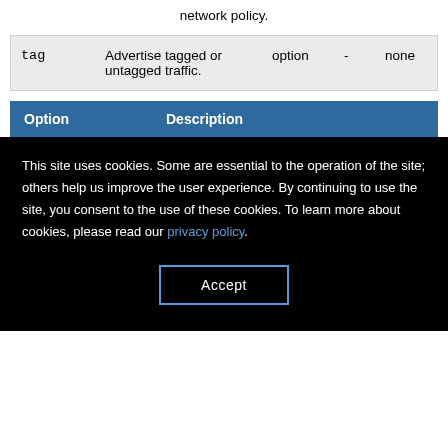network policy.
|  |  | option | - | none |
| --- | --- | --- | --- | --- |
| tag | Advertise tagged or untagged traffic. | option | - | none |
| Option | Description |
| --- | --- |
This site uses cookies. Some are essential to the operation of the site; others help us improve the user experience. By continuing to use the site, you consent to the use of these cookies. To learn more about cookies, please read our privacy policy.
Accept